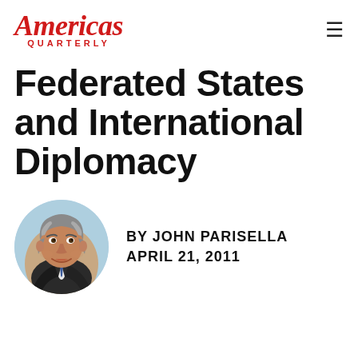Americas Quarterly
Federated States and International Diplomacy
[Figure (illustration): Circular portrait illustration of John Parisella, a middle-aged man with grey wavy hair, wearing a dark suit and tie, illustrated in a realistic painted style against a light blue background.]
BY JOHN PARISELLA
APRIL 21, 2011